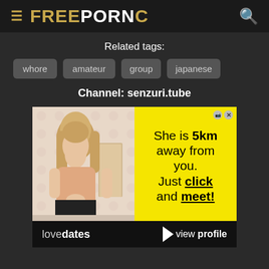FREEPORNC
Related tags:
whore
amateur
group
japanese
Channel: senzuri.tube
[Figure (screenshot): Advertisement banner: left half shows a photo of a blonde woman, right half is yellow with text 'She is 5km away from you. Just click and meet!' Bottom bar shows 'lovedates' logo and 'view profile' call to action.]